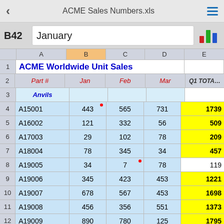ACME Sales Numbers.xls
|  | A | B | C | D | E |
| --- | --- | --- | --- | --- | --- |
| 1 | ACME Worldwide Unit Sales |  |  |  |  |
| 2 | Part # | Jan | Feb | Mar | Q1 TOTAL |
| 3 | Anvils |  |  |  |  |
| 4 | A15001 | 443 | 565 | 731 | 1739 |
| 5 | A16002 | 121 | 332 | 56 | 509 |
| 6 | A17003 | 29 | 102 | 78 | 209 |
| 7 | A18004 | 78 | 345 | 34 | 457 |
| 8 | A19005 | 34 | 7 | 78 | 119 |
| 9 | A19006 | 345 | 423 | 453 | 1221 |
| 10 | A19007 | 678 | 567 | 453 | 1698 |
| 11 | A19008 | 456 | 356 | 551 | 1373 |
| 12 | A19009 | 890 | 780 | 125 | 1795 |
| 13 | Total | 3074 | 3477 | 2569 | 9120 |
| 14 | Jet motors |  |  |  |  |
| 15 | E21005 | 45 | 87 | 43 | 175 |
| 16 | E22006 | 3 | 56 | 43 | 102 |